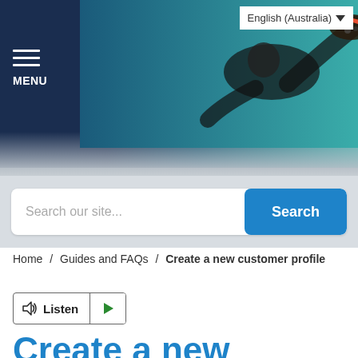[Figure (screenshot): Website header with dark navy background, hamburger menu icon and MENU label on left, hero image of athlete on right, language selector showing English (Australia) with dropdown arrow in top right corner]
[Figure (screenshot): Search bar with placeholder text 'Search our site...' and a blue Search button on the right]
Home / Guides and FAQs / Create a new customer profile
[Figure (infographic): Listen button with speaker icon and play button]
Create a new